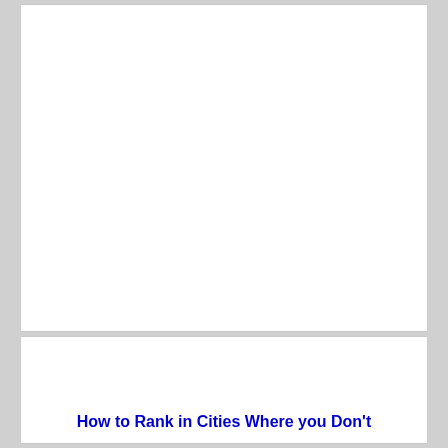[Figure (other): Empty white card/panel area — top card with no visible content]
How to Rank in Cities Where you Don't